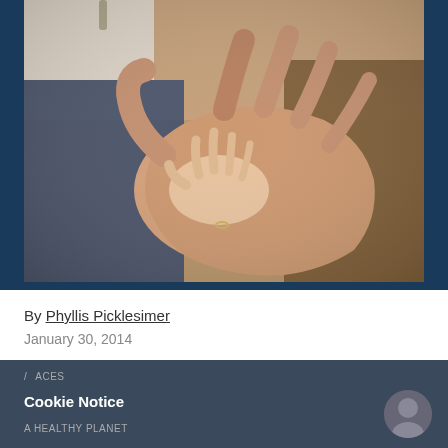[Figure (photo): Close-up photograph of a baby's small hand resting on an adult's open palm. The adult's hand is large and appears aged, wearing a bracelet. Background shows jeans and a brown garment in soft focus.]
By Phyllis Picklesimer
January 30, 2014
/ ACES
Cookie Notice
A HEALTHY PLANET